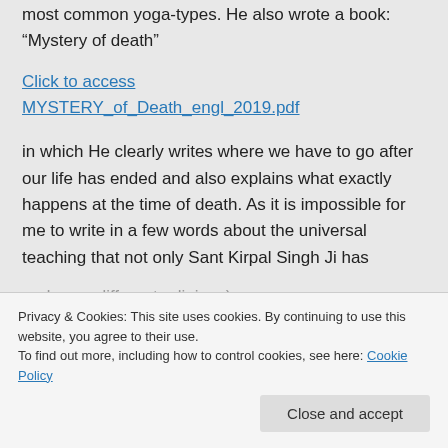most common yoga-types. He also wrote a book: “Mystery of death”
Click to access MYSTERY_of_Death_engl_2019.pdf
in which He clearly writes where we have to go after our life has ended and also explains what exactly happens at the time of death. As it is impossible for me to write in a few words about the universal teaching that not only Sant Kirpal Singh Ji has
Privacy & Cookies: This site uses cookies. By continuing to use this website, you agree to their use.
To find out more, including how to control cookies, see here: Cookie Policy
and even different religions)